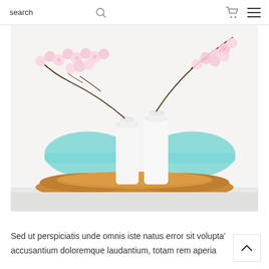search
[Figure (photo): Two white ceramic bud vases with pink cherry blossom branches, placed on a curved wooden tray board, with a light blue chair visible in the background against a white wall.]
Sed ut perspiciatis unde omnis iste natus error sit volupta' accusantium doloremque laudantium, totam rem aperia